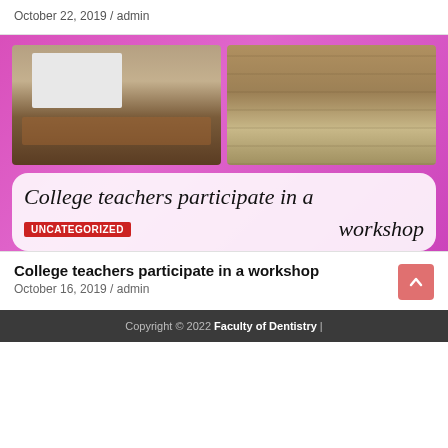October 22, 2019 / admin
[Figure (photo): Two side-by-side photos: left shows two people seated at a table in front of a projection screen in a meeting room; right shows an audience of people seated in rows at an event.]
College teachers participate in a workshop
UNCATEGORIZED
College teachers participate in a workshop
October 16, 2019 / admin
Copyright © 2022 Faculty of Dentistry |